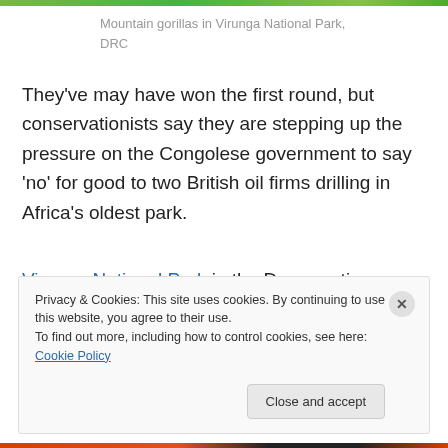[Figure (photo): Partial top edge of a photo showing mountain gorillas in Virunga National Park, DRC — only a thin green strip visible at the top of the page]
Mountain gorillas in Virunga National Park, DRC
They've may have won the first round, but conservationists say they are stepping up the pressure on the Congolese government to say 'no' for good to two British oil firms drilling in Africa's oldest park.
Virunga National Park in the Democratic Republic of Congo (DRC) is a UNESCO world heritage site, permission had been granted for the UK-based company
Privacy & Cookies: This site uses cookies. By continuing to use this website, you agree to their use.
To find out more, including how to control cookies, see here: Cookie Policy